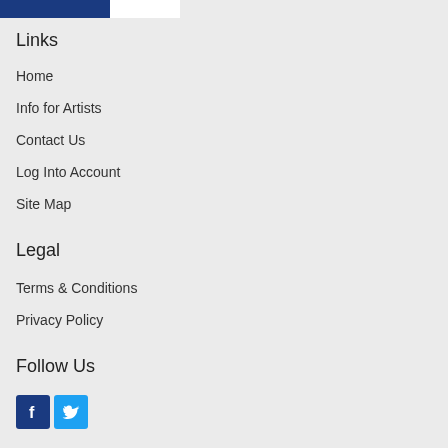[Figure (logo): Header bar with blue and white sections]
Links
Home
Info for Artists
Contact Us
Log Into Account
Site Map
Legal
Terms & Conditions
Privacy Policy
Follow Us
[Figure (logo): Facebook and Twitter social media icons]